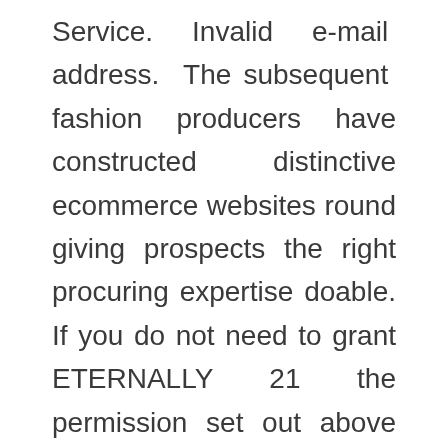Service. Invalid e-mail address. The subsequent fashion producers have constructed distinctive ecommerce websites round giving prospects the right procuring expertise doable. If you do not need to grant ETERNALLY 21 the permission set out above on these phrases, please do not submit Person Content material.
From beautiful choker necklaces and dainty rings to easy cuff bracelets and glowing Drusy earrings , our jewelry is designed in a variety of styles, metallic finishes, and gems. On this difficult and unsure time, it's